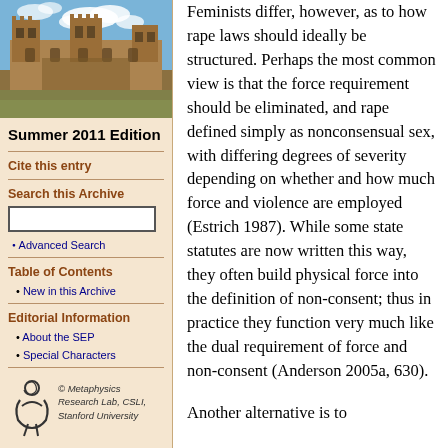[Figure (photo): Photograph of a historic stone university building with Gothic architecture and blue sky with clouds]
Summer 2011 Edition
Cite this entry
Search this Archive
Advanced Search
Table of Contents
New in this Archive
Editorial Information
About the SEP
Special Characters
[Figure (logo): Metaphysics Research Lab logo with stylized figure]
© Metaphysics Research Lab, CSLI, Stanford University
Feminists differ, however, as to how rape laws should ideally be structured. Perhaps the most common view is that the force requirement should be eliminated, and rape defined simply as nonconsensual sex, with differing degrees of severity depending on whether and how much force and violence are employed (Estrich 1987). While some state statutes are now written this way, they often build physical force into the definition of non-consent; thus in practice they function very much like the dual requirement of force and non-consent (Anderson 2005a, 630).
Another alternative is to